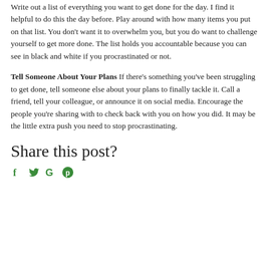Write out a list of everything you want to get done for the day. I find it helpful to do this the day before. Play around with how many items you put on that list. You don't want it to overwhelm you, but you do want to challenge yourself to get more done. The list holds you accountable because you can see in black and white if you procrastinated or not.
Tell Someone About Your Plans If there's something you've been struggling to get done, tell someone else about your plans to finally tackle it. Call a friend, tell your colleague, or announce it on social media. Encourage the people you're sharing with to check back with you on how you did. It may be the little extra push you need to stop procrastinating.
Share this post?
[Figure (infographic): Social media sharing icons: Facebook (f), Twitter/bird, Google (G), Pinterest (p) in green color]